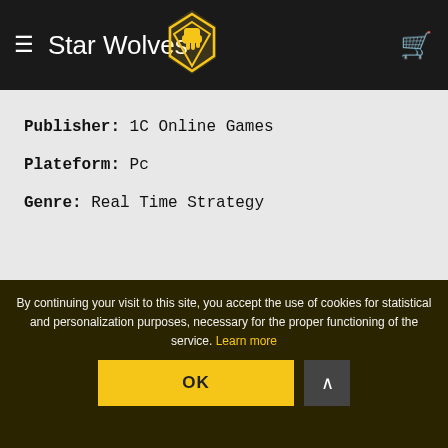Star Wolves
Publisher: 1C Online Games
Plateform: Pc
Genre: Real Time Strategy
Best-selling video games !
By continuing your visit to this site, you accept the use of cookies for statistical and personalization purposes, necessary for the proper functioning of the service. Learn more